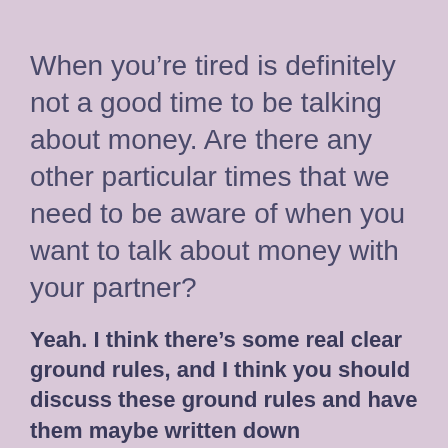When you're tired is definitely not a good time to be talking about money. Are there any other particular times that we need to be aware of when you want to talk about money with your partner?
Yeah. I think there's some real clear ground rules, and I think you should discuss these ground rules and have them maybe written down somewhere.